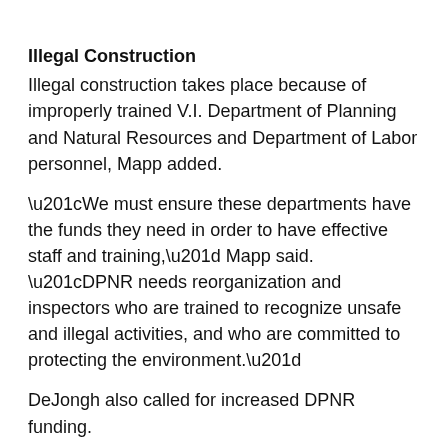Illegal Construction
Illegal construction takes place because of improperly trained V.I. Department of Planning and Natural Resources and Department of Labor personnel, Mapp added.
“We must ensure these departments have the funds they need in order to have effective staff and training,” Mapp said. “DPNR needs reorganization and inspectors who are trained to recognize unsafe and illegal activities, and who are committed to protecting the environment.”
DeJongh also called for increased DPNR funding.
“We must look at the enforcement component of DPNR,” deJongh said. “There is only one inspector on the island. We need to put revenues back in the department and see it